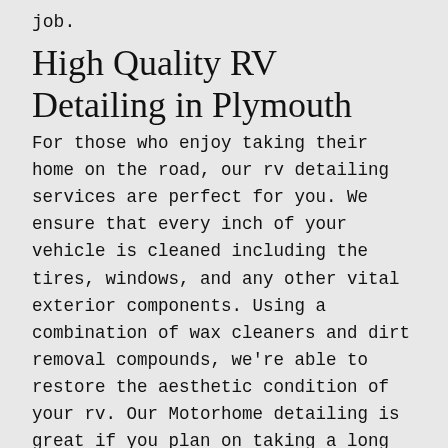job.
High Quality RV Detailing in Plymouth
For those who enjoy taking their home on the road, our rv detailing services are perfect for you. We ensure that every inch of your vehicle is cleaned including the tires, windows, and any other vital exterior components. Using a combination of wax cleaners and dirt removal compounds, we're able to restore the aesthetic condition of your rv. Our Motorhome detailing is great if you plan on taking a long trip in your camper anytime soon, in addition to being good for general maintenance purposes.
Plymouth Boat Detailing
While sailing the seas, your boat will encounter many different elements and as a result it can start